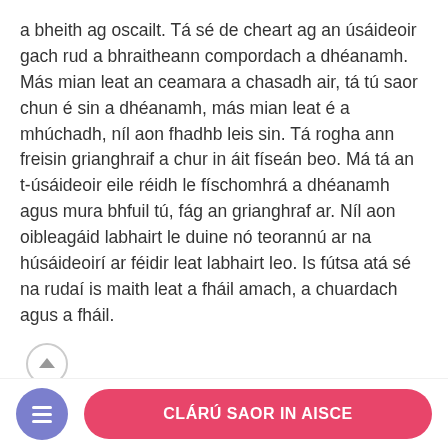a bheith ag oscailt. Tá sé de cheart ag an úsáideoir gach rud a bhraitheann compordach a dhéanamh. Más mian leat an ceamara a chasadh air, tá tú saor chun é sin a dhéanamh, más mian leat é a mhúchadh, níl aon fhadhb leis sin. Tá rogha ann freisin grianghraif a chur in áit físeán beo. Má tá an t-úsáideoir eile réidh le físchomhrá a dhéanamh agus mura bhfuil tú, fág an grianghraf ar. Níl aon oibleagáid labhairt le duine nó teorannú ar na húsáideoirí ar féidir leat labhairt leo. Is fútsa atá sé na rudaí is maith leat a fháil amach, a chuardach agus a fháil.
Déann Fruzo cinnte go bhfuil do phríobháideacht (33%)ta. Tá nós imeachta fíoraithe ann a dtéann gach cuntas tríd agus an fhoireann mhodhnóireachta a
CLÁRÚ SAOR IN AISCE